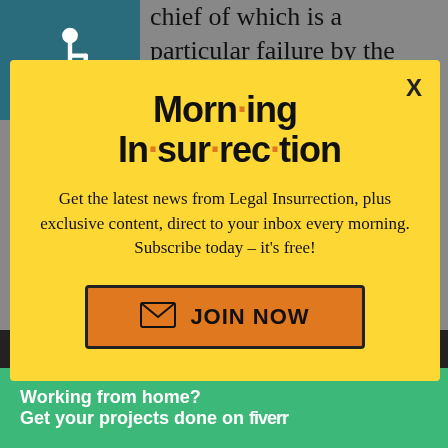[Figure (screenshot): Accessibility (wheelchair) icon in teal square, top-left corner of background page]
chief of which is a particular failure by the Establishment GOP to recognize the nature and intentions of the
[Figure (screenshot): Morning Insurrection newsletter subscription modal popup with yellow background, title 'Morn·ing In·sur·rec·tion', subscription text, and JOIN NOW button]
disclaimed and monotonously the nauctop
[Figure (screenshot): Small X close button on dark background]
[Figure (advertisement): Fiverr green banner ad: Working from home? Get your projects done on fiverr]